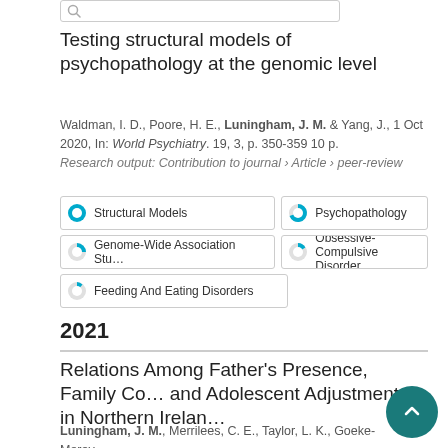Testing structural models of psychopathology at the genomic level
Waldman, I. D., Poore, H. E., Luningham, J. M. & Yang, J., 1 Oct 2020, In: World Psychiatry. 19, 3, p. 350-359 10 p.
Research output: Contribution to journal › Article › peer-review
100% Structural Models | 75% Psychopathology | 50% Genome-Wide Association Stu… | 25% Obsessive-Compulsive Disorder | 25% Feeding And Eating Disorders
2021
Relations Among Father's Presence, Family Co… and Adolescent Adjustment in Northern Irelan…
Luningham, J. M., Merrilees, C. E., Taylor, L. K., Goeke-Morey, M…